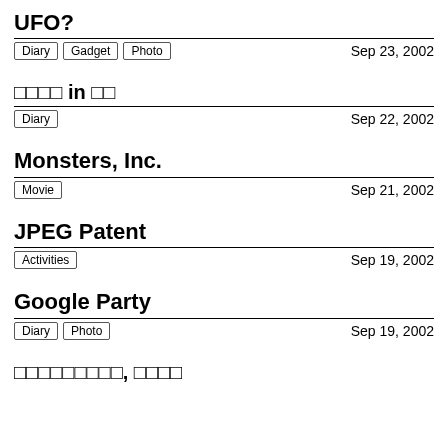UFO?
Diary  Gadget  Photo    Sep 23, 2002
□□□□ in □□
Diary    Sep 22, 2002
Monsters, Inc.
Movie    Sep 21, 2002
JPEG Patent
Activities    Sep 19, 2002
Google Party
Diary  Photo    Sep 19, 2002
□□□□□□□□□, □□□□